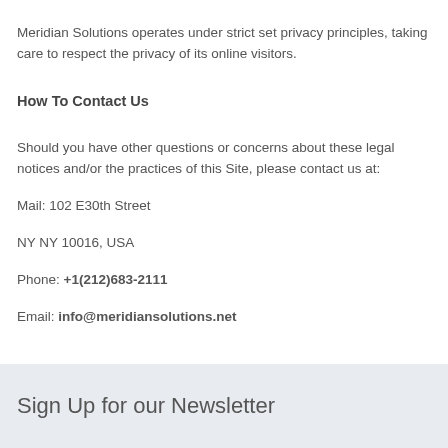Meridian Solutions operates under strict set privacy principles, taking care to respect the privacy of its online visitors.
How To Contact Us
Should you have other questions or concerns about these legal notices and/or the practices of this Site, please contact us at:
Mail: 102 E30th Street
NY NY 10016, USA
Phone: +1(212)683-2111
Email: info@meridiansolutions.net
Sign Up for our Newsletter